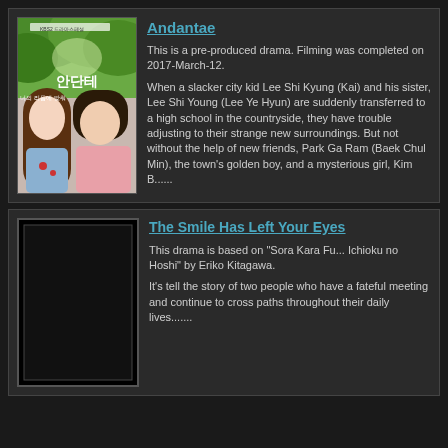[Figure (photo): Korean drama poster for Andantae showing a young woman with long brown hair wearing a blue floral top and a young man in a pink sweater, with green foliage background and Korean text]
Andantae
This is a pre-produced drama. Filming was completed on 2017-March-12.
When a slacker city kid Lee Shi Kyung (Kai) and his sister, Lee Shi Young (Lee Ye Hyun) are suddenly transferred to a high school in the countryside, they have trouble adjusting to their strange new surroundings. But not without the help of new friends, Park Ga Ram (Baek Chul Min), the town's golden boy, and a mysterious girl, Kim B......
[Figure (photo): Dark/black placeholder image for The Smile Has Left Your Eyes drama]
The Smile Has Left Your Eyes
This drama is based on "Sora Kara Furu Ichioku no Hoshi" by Eriko Kitagawa.
It's tell the story of two people who have a fateful meeting and continue to cross paths throughout their daily lives.......